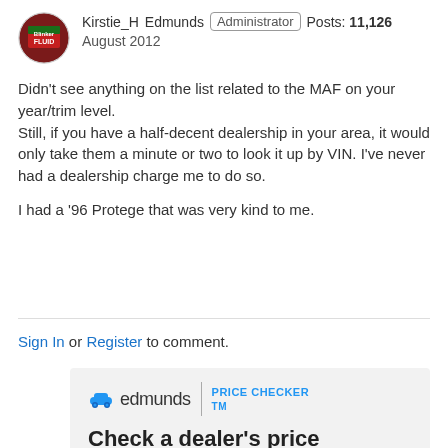Kirstie_H  Edmunds  Administrator  Posts: 11,126  August 2012
Didn't see anything on the list related to the MAF on your year/trim level.
Still, if you have a half-decent dealership in your area, it would only take them a minute or two to look it up by VIN. I've never had a dealership charge me to do so.

I had a '96 Protege that was very kind to me.
Sign In or Register to comment.
[Figure (screenshot): Edmunds Price Checker advertisement banner with car icon, Edmunds logo, and text 'Check a dealer's price']